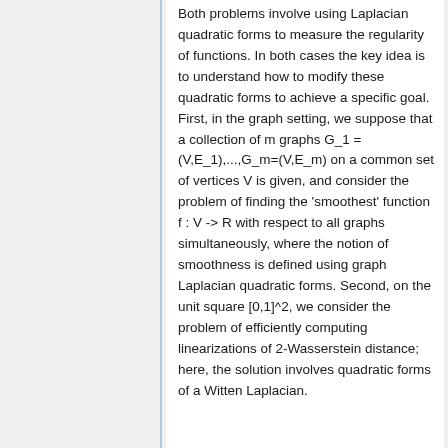Both problems involve using Laplacian quadratic forms to measure the regularity of functions. In both cases the key idea is to understand how to modify these quadratic forms to achieve a specific goal. First, in the graph setting, we suppose that a collection of m graphs G_1 = (V,E_1),...,G_m=(V,E_m) on a common set of vertices V is given, and consider the problem of finding the 'smoothest' function f : V -> R with respect to all graphs simultaneously, where the notion of smoothness is defined using graph Laplacian quadratic forms. Second, on the unit square [0,1]^2, we consider the problem of efficiently computing linearizations of 2-Wasserstein distance; here, the solution involves quadratic forms of a Witten Laplacian.